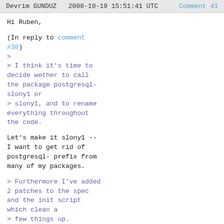Devrim GUNDUZ   2008-10-19 15:51:41 UTC   Comment 41
Hi Ruben,

(In reply to comment #38)
>
> I think it's time to decide wether to call the package postgresql-slony1 or
> slony1, and to rename everything throughout the code.

Let's make it slony1 -- I want to get rid of postgresql- prefix from many of my packages.

> Furthermore I've added 2 patches to the spec and the init script which clean a
> few things up.

Thanks! I'll check them soon.

Devrim